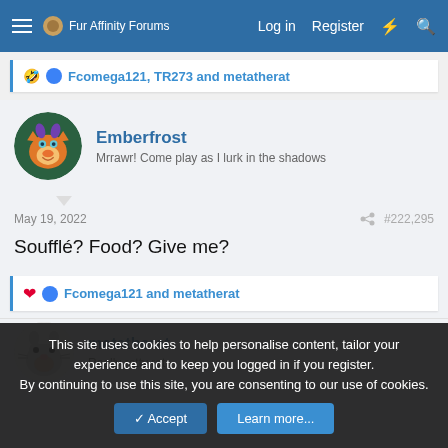Fur Affinity Forums  Log in  Register
🤣D  Fcomega121, TR273 and metatherat
Emberfrost
Mrrawr! Come play as I lurk in the shadows
May 19, 2022   #222,295
Soufflé? Food? Give me?
❤️D  Fcomega121 and metatherat
metatherat
Really ratty rat
This site uses cookies to help personalise content, tailor your experience and to keep you logged in if you register.
By continuing to use this site, you are consenting to our use of cookies.